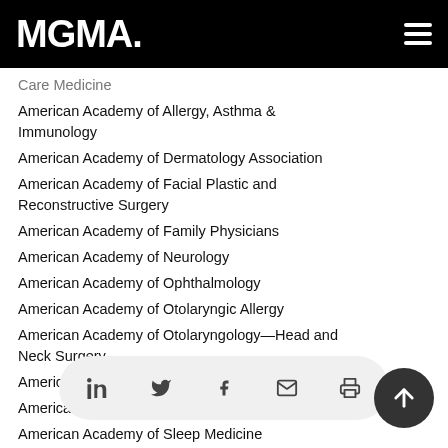MGMA
Care Medicine
American Academy of Allergy, Asthma & Immunology
American Academy of Dermatology Association
American Academy of Facial Plastic and Reconstructive Surgery
American Academy of Family Physicians
American Academy of Neurology
American Academy of Ophthalmology
American Academy of Otolaryngic Allergy
American Academy of Otolaryngology—Head and Neck Surgery
American Academy of Pain Medicine
American Academy of Pediatrics
American Academy of Sleep Medicine
American Association of Child and Adolescent Psychiatry
American Asso...
American Assoc...
American Association of Hip and Knee Surgeons